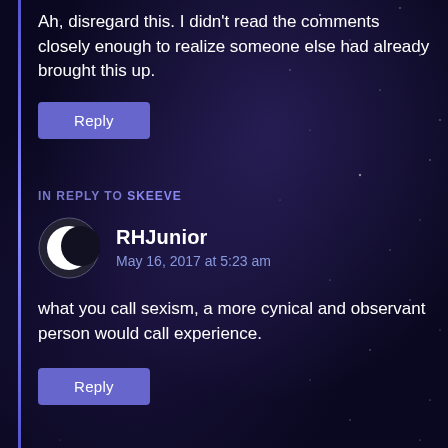Ah, disregard this. I didn't read the comments closely enough to realize someone else had already brought this up.
Reply
IN REPLY TO SKEEVE
RHJunior
May 16, 2017 at 5:23 am
what you call sexism, a more cynical and observant person would call experience.
Reply